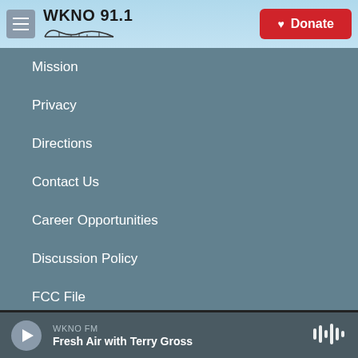WKNO 91.1 | Donate
Mission
Privacy
Directions
Contact Us
Career Opportunities
Discussion Policy
FCC File
WKNO FM
Fresh Air with Terry Gross